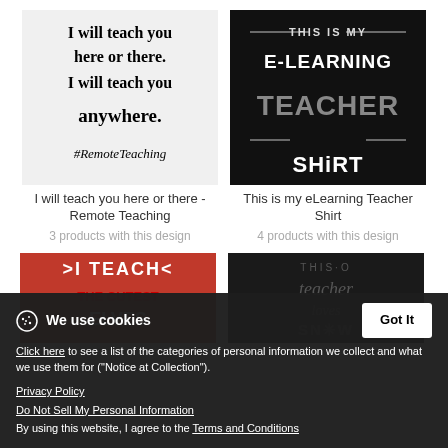[Figure (illustration): White background image with bold black serif text reading: I will teach you here or there. I will teach you anywhere. #RemoteTeaching]
[Figure (illustration): Black background image with stylized white text reading: THIS IS MY E-LEARNING TEACHER SHIRT]
I will teach you here or there - Remote Teaching
This is my eLearning Teacher Shirt
3 products with this design
4 products with this design
[Figure (illustration): Red background image partially visible showing text: I TEACH THE CUTEST ELVES (partially cut off)]
[Figure (illustration): Dark background image partially visible showing text about teacher loves snow days (partially cut off)]
We use cookies
Click here to see a list of the categories of personal information we collect and what we use them for ("Notice at Collection").
Privacy Policy
Do Not Sell My Personal Information
By using this website, I agree to the Terms and Conditions